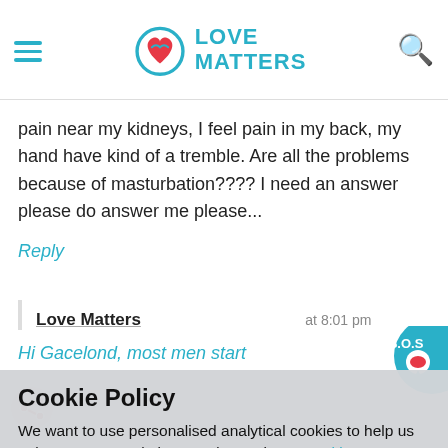Love Matters
pain near my kidneys, I feel pain in my back, my hand have kind of a tremble. Are all the problems because of masturbation???? I need an answer please do answer me please...
Reply
Love Matters    at 8:01 pm
Cookie Policy
We want to use personalised analytical cookies to help us to improve our website. Read more in our cookie statement
YES